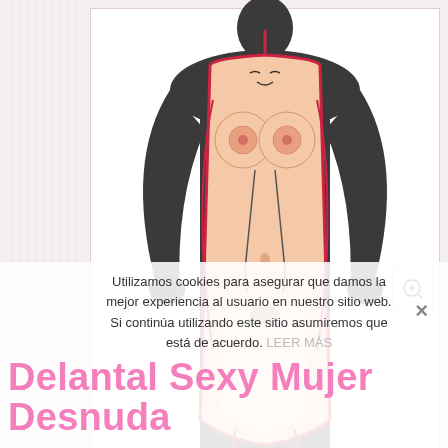[Figure (photo): A novelty cooking apron printed with an illustrated nude female body (cartoon style with skin-tone colors, red border trim), worn by a dark mannequin/figure with hands on hips, shown against a white product panel background.]
Utilizamos cookies para asegurar que damos la mejor experiencia al usuario en nuestro sitio web. Si continúa utilizando este sitio asumiremos que está de acuerdo. LEER MÁS
Delantal Sexy Mujer Desnuda